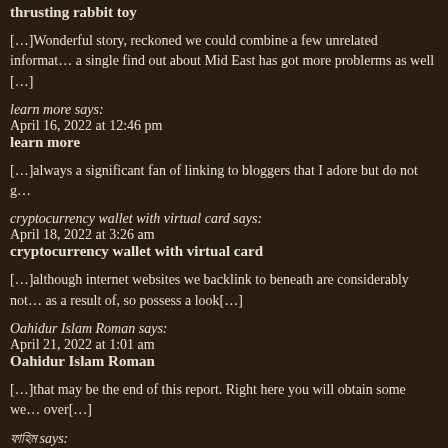thrusting rabbit toy
[…]Wonderful story, reckoned we could combine a few unrelated informat… a single find out about Mid East has got more problerms as well […]
learn more says:
April 16, 2022 at 12:46 pm
learn more
[…]always a significant fan of linking to bloggers that I adore but do not g…
cryptocurrency wallet with virtual card says:
April 18, 2022 at 3:26 am
cryptocurrency wallet with virtual card
[…]although internet websites we backlink to beneath are considerably not… as a result of, so possess a look[…]
Oahidur Islam Roman says:
April 21, 2022 at 1:01 am
Oahidur Islam Roman
[…]that may be the end of this report. Right here you will obtain some we… over[…]
ফাহিম says:
April 21, 2022 at 9:05 am